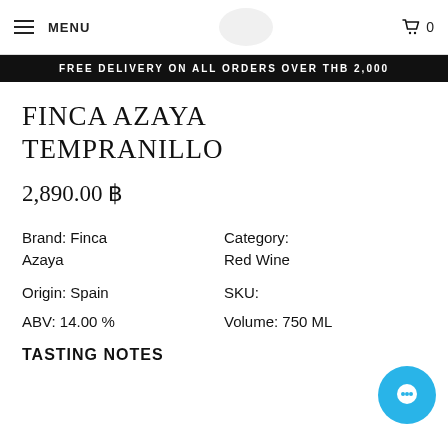MENU | 0
FREE DELIVERY ON ALL ORDERS OVER THB 2,000
FINCA AZAYA TEMPRANILLO
2,890.00 ฿
Brand: Finca Azaya
Category: Red Wine
Origin: Spain
SKU:
ABV: 14.00 %
Volume: 750 ML
TASTING NOTES